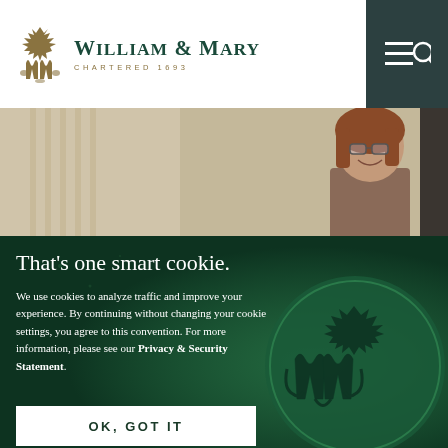William & Mary — Chartered 1693
[Figure (photo): Woman with short auburn hair and glasses smiling, indoor setting]
That's one smart cookie.
We use cookies to analyze traffic and improve your experience. By continuing without changing your cookie settings, you agree to this convention. For more information, please see our Privacy & Security Statement.
OK, GOT IT